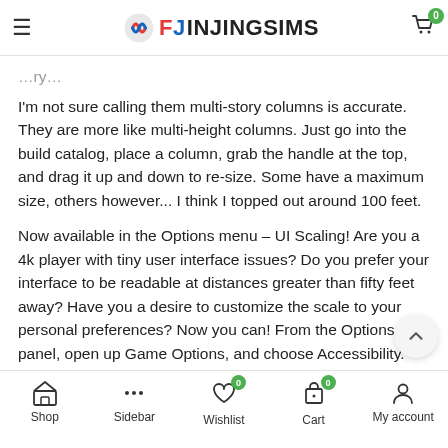FINJINGSIMS
I'm not sure calling them multi-story columns is accurate. They are more like multi-height columns. Just go into the build catalog, place a column, grab the handle at the top, and drag it up and down to re-size. Some have a maximum size, others however... I think I topped out around 100 feet.
Now available in the Options menu – UI Scaling! Are you a 4k player with tiny user interface issues? Do you prefer your interface to be readable at distances greater than fifty feet away? Have you a desire to customize the scale to your personal preferences? Now you can! From the Options panel, open up Game Options, and choose Accessibility. Stay away from the red parts of the slider to keep things in the safe range for your display. But, if you are feeling adventurous, give it a try, go crazy! If for some reason you find yourself in a bad state, you can always reset – either from the
Shop  Sidebar  Wishlist  Cart  My account